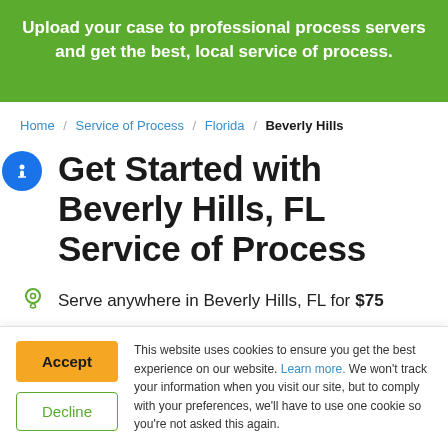Upload your case to professional process servers and get the best, local service of process.
Home / Service of Process / Florida / Beverly Hills
Get Started with Beverly Hills, FL Service of Process
Serve anywhere in Beverly Hills, FL for $75
This website uses cookies to ensure you get the best experience on our website. Learn more. We won't track your information when you visit our site, but to comply with your preferences, we'll have to use one cookie so you're not asked this again.